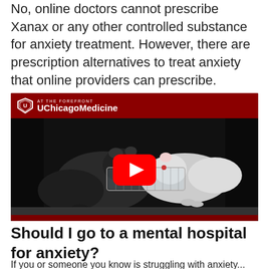No, online doctors cannot prescribe Xanax or any other controlled substance for anxiety treatment. However, there are prescription alternatives to treat anxiety that online providers can prescribe.
[Figure (screenshot): UChicago Medicine YouTube video thumbnail showing two rats (one dark, one white) with a transparent restraint tube, with a YouTube play button overlay and UChicago Medicine branding on a dark red bar at top.]
Should I go to a mental hospital for anxiety?
If you or someone you know is struggling with anxiety...